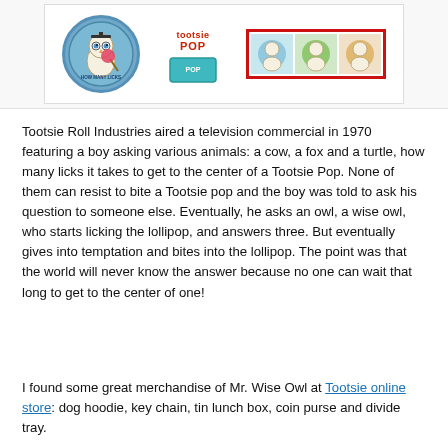[Figure (illustration): Tootsie Pop merchandise image showing an owl mascot badge on the left, a Tootsie Pop logo top center, a turquoise package top right, and a red-bordered strip of three character cards on the right]
Tootsie Roll Industries aired a television commercial in 1970 featuring a boy asking various animals: a cow, a fox and a turtle, how many licks it takes to get to the center of a Tootsie Pop. None of them can resist to bite a Tootsie pop and the boy was told to ask his question to someone else. Eventually, he asks an owl, a wise owl, who starts licking the lollipop, and answers three. But eventually gives into temptation and bites into the lollipop. The point was that the world will never know the answer because no one can wait that long to get to the center of one!
I found some great merchandise of Mr. Wise Owl at Tootsie online store: dog hoodie, key chain, tin lunch box, coin purse and divide tray.